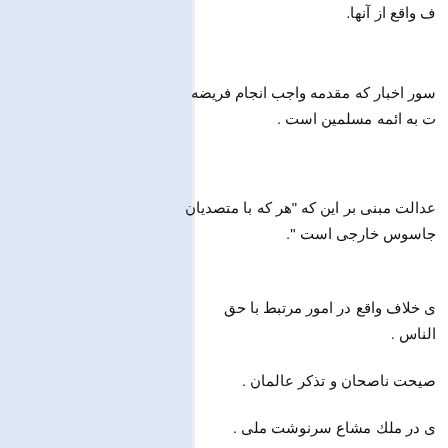ف واقع از آنها.
سور اخبار که مقدمه واجب انجام فریضه
ت به ائمه مسلمین است .
عدالت مبنی بر این که "هر که با متصدیان
جاسوس خارجی است ".
ی خلاف واقع در امور مرتبط با حق الناس .
صیحت ناصحان و تذکر عالمان .
ی در ملك مشاع سرنوشت ملی .